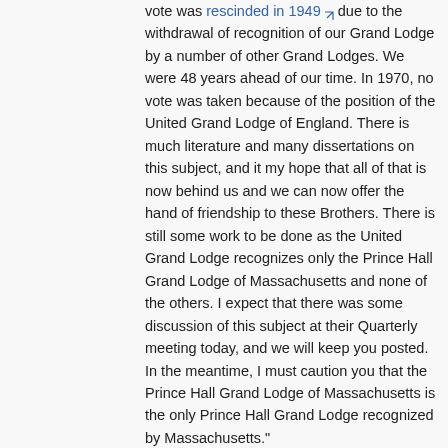vote was rescinded in 1949 [external link] due to the withdrawal of recognition of our Grand Lodge by a number of other Grand Lodges. We were 48 years ahead of our time. In 1970, no vote was taken because of the position of the United Grand Lodge of England. There is much literature and many dissertations on this subject, and it my hope that all of that is now behind us and we can now offer the hand of friendship to these Brothers. There is still some work to be done as the United Grand Lodge recognizes only the Prince Hall Grand Lodge of Massachusetts and none of the others. I expect that there was some discussion of this subject at their Quarterly meeting today, and we will keep you posted. In the meantime, I must caution you that the Prince Hall Grand Lodge of Massachusetts is the only Prince Hall Grand Lodge recognized by Massachusetts."
Note that M.W. Edgar R. McLean, Prince Hall Grand Master, gave remarks at the June 14, 1995 Quarterly Communication, beginning on Page 1995-105.